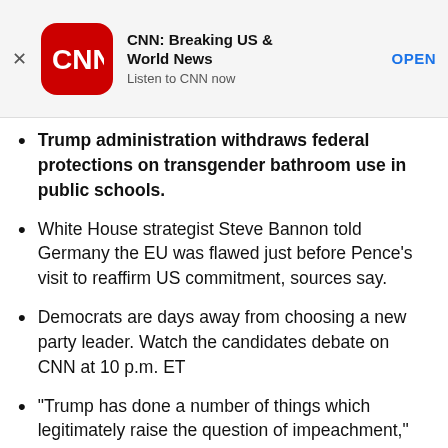[Figure (screenshot): CNN app advertisement banner with red CNN logo icon, title 'CNN: Breaking US & World News', subtitle 'Listen to CNN now', and an 'OPEN' button link]
Trump administration withdraws federal protections on transgender bathroom use in public schools.
White House strategist Steve Bannon told Germany the EU was flawed just before Pence's visit to reaffirm US commitment, sources say.
Democrats are days away from choosing a new party leader. Watch the candidates debate on CNN at 10 p.m. ET
“Trump has done a number of things which legitimately raise the question of impeachment,” Minn. Rep. Keith Ellison says during DNC chair